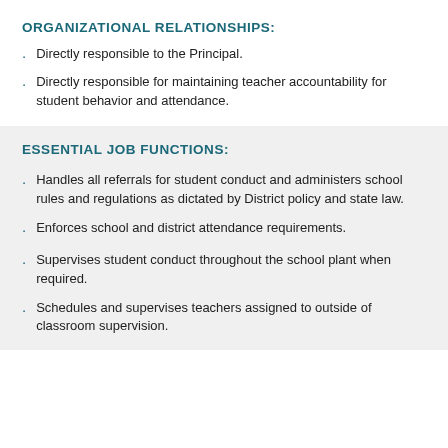ORGANIZATIONAL RELATIONSHIPS:
Directly responsible to the Principal.
Directly responsible for maintaining teacher accountability for student behavior and attendance.
ESSENTIAL JOB FUNCTIONS:
Handles all referrals for student conduct and administers school rules and regulations as dictated by District policy and state law.
Enforces school and district attendance requirements.
Supervises student conduct throughout the school plant when required.
Schedules and supervises teachers assigned to outside of classroom supervision.